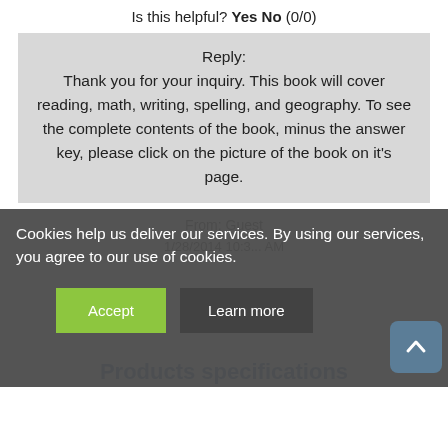Is this helpful? Yes No (0/0)
Reply:
Thank you for your inquiry. This book will cover reading, math, writing, spelling, and geography. To see the complete contents of the book, minus the answer key, please click on the picture of the book on it's page.
From: Guest
Cookies help us deliver our services. By using our services, you agree to our use of cookies.
Accept
Learn more
Products specifications